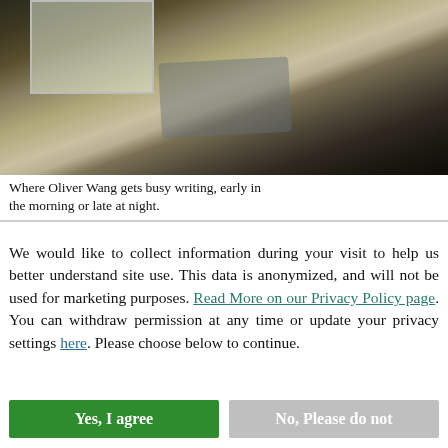[Figure (photo): A cluttered desk workspace with a laptop open, various items and equipment on the desk, a window in the background providing natural light, photographed early morning or late at night.]
Where Oliver Wang gets busy writing, early in the morning or late at night.
We would like to collect information during your visit to help us better understand site use. This data is anonymized, and will not be used for marketing purposes. Read More on our Privacy Policy page. You can withdraw permission at any time or update your privacy settings here. Please choose below to continue.
Yes, I agree
No, Please do not